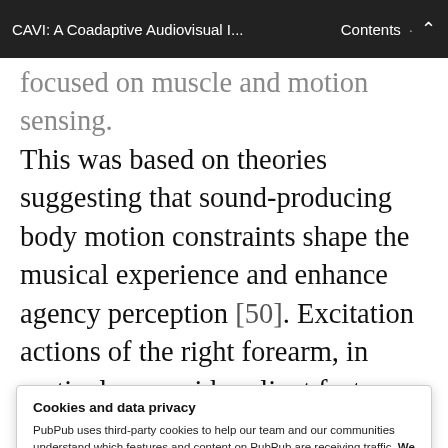CAVI: A Coadaptive Audiovisual I...    Contents  ·  ⌃
focused on muscle and motion sensing. This was based on theories suggesting that sound-producing body motion constraints shape the musical experience and enhance agency perception [50]. Excitation actions of the right forearm, in particular, provide salient features of the resultant sound [23]. Rather than starting from scratch, we
Cookies and data privacy
PubPub uses third-party cookies to help our team and our communities understand which features and content on PubPub are receiving traffic. We don't sell this data or share it with anyone else, and we don't use third-party processors who aggregate and sell data. Visit your privacy settings to learn more.
Accept   Disable
also one of the reasons we have labeled